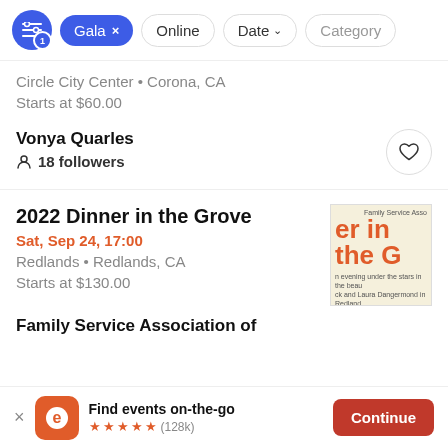Filter bar: Gala x | Online | Date | Category
Circle City Center • Corona, CA
Starts at $60.00
Vonya Quarles
18 followers
2022 Dinner in the Grove
Sat, Sep 24, 17:00
Redlands • Redlands, CA
Starts at $130.00
[Figure (other): Event flyer thumbnail for Dinner in the Grove showing Family Service Association branding with orange text on cream background]
Family Service Association of...
Find events on-the-go ★★★★★ (128k) Continue